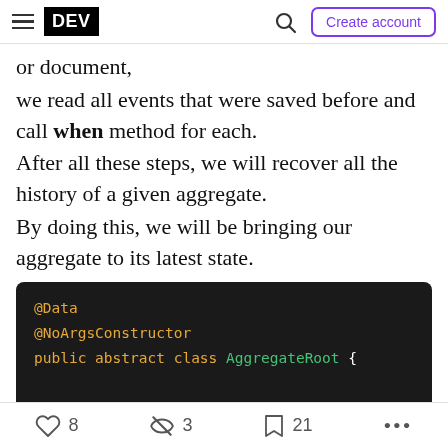DEV | Create account
or document,
we read all events that were saved before and call when method for each.
After all these steps, we will recover all the history of a given aggregate.
By doing this, we will be bringing our aggregate to its latest state.
[Figure (screenshot): Code block showing Java class definition: @Data, @NoArgsConstructor, public abstract class AggregateRoot { protected String id; protected String type;]
8  3  21  ...